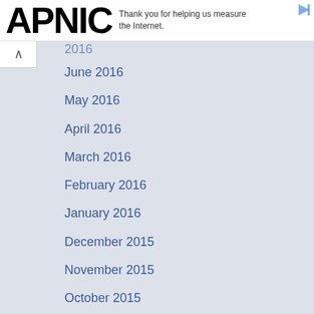[Figure (logo): APNIC logo in bold black text]
Thank you for helping us measure the Internet.
June 2016
May 2016
April 2016
March 2016
February 2016
January 2016
December 2015
November 2015
October 2015
September 2015
August 2015
July 2015
June 2015
May 2015
April 2015
March 2015